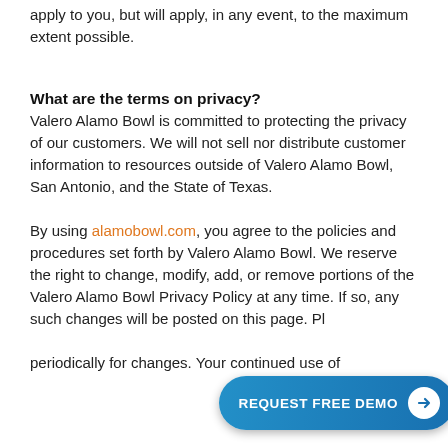apply to you, but will apply, in any event, to the maximum extent possible.
What are the terms on privacy?
Valero Alamo Bowl is committed to protecting the privacy of our customers. We will not sell nor distribute customer information to resources outside of Valero Alamo Bowl, San Antonio, and the State of Texas.
By using alamobowl.com, you agree to the policies and procedures set forth by Valero Alamo Bowl. We reserve the right to change, modify, add, or remove portions of the Valero Alamo Bowl Privacy Policy at any time. If so, any such changes will be posted on this page. Please check periodically for changes. Your continued use of